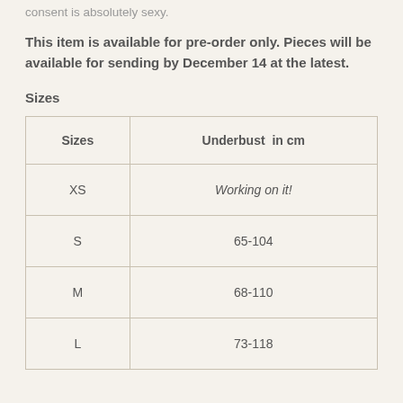consent is absolutely sexy.
This item is available for pre-order only. Pieces will be available for sending by December 14 at the latest.
Sizes
| Sizes | Underbust  in cm |
| --- | --- |
| XS | Working on it! |
| S | 65-104 |
| M | 68-110 |
| L | 73-118 |